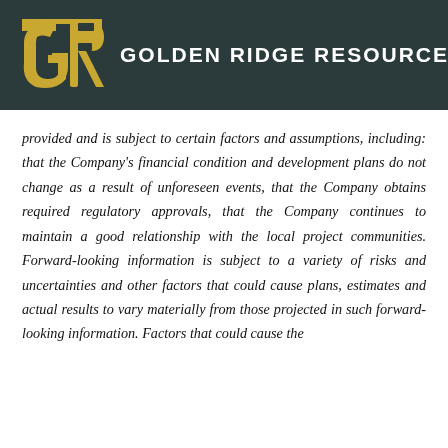GOLDEN RIDGE RESOURCES
provided and is subject to certain factors and assumptions, including: that the Company's financial condition and development plans do not change as a result of unforeseen events, that the Company obtains required regulatory approvals, that the Company continues to maintain a good relationship with the local project communities. Forward-looking information is subject to a variety of risks and uncertainties and other factors that could cause plans, estimates and actual results to vary materially from those projected in such forward-looking information. Factors that could cause the